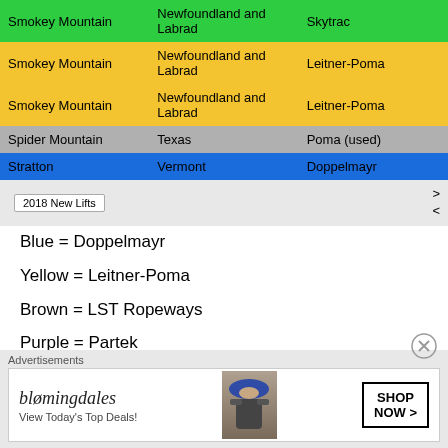| Resort | Location | Manufacturer |
| --- | --- | --- |
| Smokey Mountain | Newfoundland and Labrad | Skytrac |
| Smokey Mountain | Newfoundland and Labrad | Leitner-Poma |
| Smokey Mountain | Newfoundland and Labrad | Leitner-Poma |
| Spider Mountain | Texas | Poma (used) |
| Stratton | Vermont | Doppelmayr |
Blue = Doppelmayr
Yellow = Leitner-Poma
Brown = LST Ropeways
Purple = Partek
Green = Skytrac
Orange = SkyTrans
Gray = Re-installations (used lifts)
Red = To be announced
Advertisements
[Figure (other): Bloomingdales advertisement banner with woman in hat and Shop Now button]